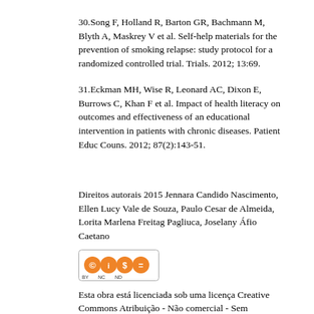30.Song F, Holland R, Barton GR, Bachmann M, Blyth A, Maskrey V et al. Self-help materials for the prevention of smoking relapse: study protocol for a randomized controlled trial. Trials. 2012; 13:69.
31.Eckman MH, Wise R, Leonard AC, Dixon E, Burrows C, Khan F et al. Impact of health literacy on outcomes and effectiveness of an educational intervention in patients with chronic diseases. Patient Educ Couns. 2012; 87(2):143-51.
Direitos autorais 2015 Jennara Candido Nascimento, Ellen Lucy Vale de Souza, Paulo Cesar de Almeida, Lorita Marlena Freitag Pagliuca, Joselany Áfio Caetano
[Figure (logo): Creative Commons BY-NC-ND license badge icon]
Esta obra está licenciada sob uma licença Creative Commons Atribuição - Não comercial - Sem derivações 4.0 Internacional.